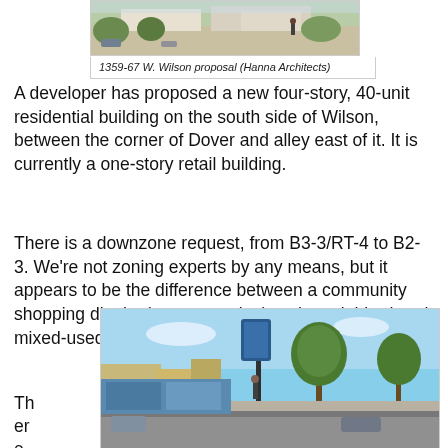[Figure (photo): Architectural rendering of 1359-67 W. Wilson proposal showing a multi-story residential building]
1359-67 W. Wilson proposal (Hanna Architects)
A developer has proposed a new four-story, 40-unit residential building on the south side of Wilson, between the corner of Dover and alley east of it. It is currently a one-story retail building.
There is a downzone request, from B3-3/RT-4 to B2-3. We're not zoning experts by any means, but it appears to be the difference between a community shopping district (current zoning) and a neighborhood mixed-used district (requested zoning).
There would be
[Figure (photo): Street-level photo showing a neighborhood commercial area with trees, street banner, and storefronts]